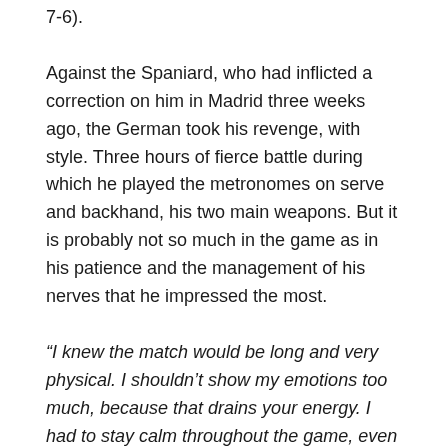7-6).
Against the Spaniard, who had inflicted a correction on him in Madrid three weeks ago, the German took his revenge, with style. Three hours of fierce battle during which he played the metronomes on serve and backhand, his two main weapons. But it is probably not so much in the game as in his patience and the management of his nerves that he impressed the most.
“I knew the match would be long and very physical. I shouldn’t show my emotions too much, because that drains your energy. I had to stay calm throughout the game, even though I missed chances in the third [set], which I lost by the way. »
While the public leaned more towards Carlos Alcaraz, Alexander Zverev did not move an eyelash. Nor spent his